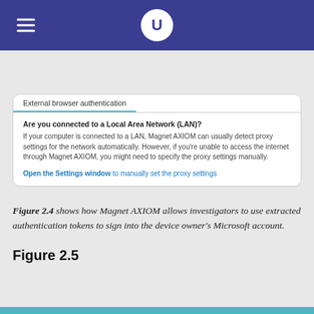U
Table of Contents
[Figure (screenshot): Screenshot of Magnet AXIOM External browser authentication dialog showing a LAN connection detection message and a link to open the Settings window to manually set proxy settings.]
Figure 2.4 shows how Magnet AXIOM allows investigators to use extracted authentication tokens to sign into the device owner's Microsoft account.
Figure 2.5